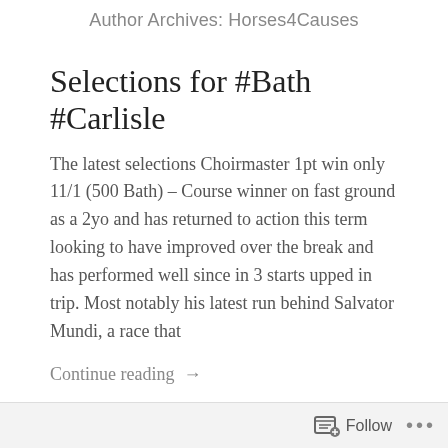Author Archives: Horses4Causes
Selections for #Bath #Carlisle
The latest selections Choirmaster 1pt win only 11/1 (500 Bath) – Course winner on fast ground as a 2yo and has returned to action this term looking to have improved over the break and has performed well since in 3 starts upped in trip. Most notably his latest run behind Salvator Mundi, a race that
Continue reading →
Follow